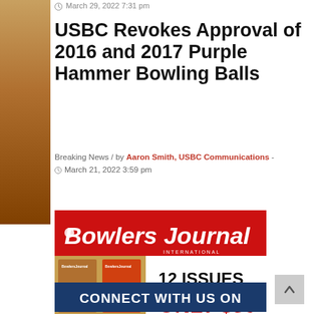March 29, 2022 7:31 pm
USBC Revokes Approval of 2016 and 2017 Purple Hammer Bowling Balls
Breaking News / by Aaron Smith, USBC Communications - March 21, 2022 3:59 pm
[Figure (illustration): Bowlers Journal International advertisement: red banner with logo at top, two magazine covers on left, and '12 ISSUES ONLY $36' text on right]
[Figure (illustration): Dark blue banner advertisement reading 'CONNECT WITH US ON']